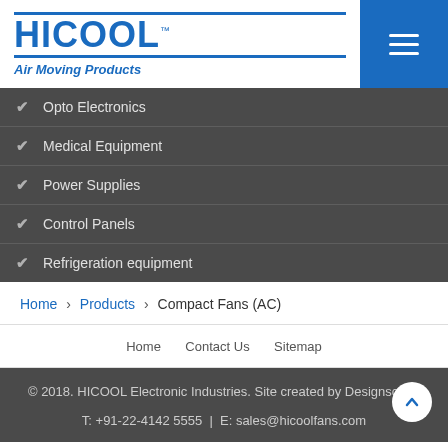[Figure (logo): HICOOL Air Moving Products logo with blue text and horizontal rules, plus hamburger menu icon on blue background]
Opto Electronics
Medical Equipment
Power Supplies
Control Panels
Refrigeration equipment
Home > Products > Compact Fans (AC)
Home   Contact Us   Sitemap
© 2018. HICOOL Electronic Industries. Site created by Designscape
T: +91-22-4142 5555  |  E: sales@hicoolfans.com